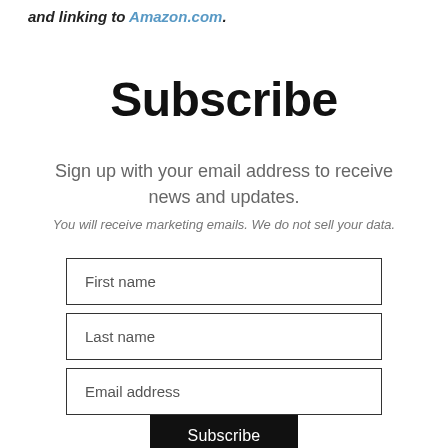and linking to Amazon.com.
Subscribe
Sign up with your email address to receive news and updates.
You will receive marketing emails. We do not sell your data.
First name
Last name
Email address
Subscribe